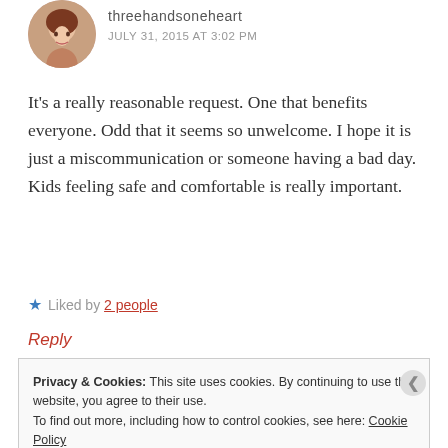[Figure (photo): Circular avatar photo of a woman with brown hair]
threehandsонeheart
JULY 31, 2015 AT 3:02 PM
It's a really reasonable request. One that benefits everyone. Odd that it seems so unwelcome. I hope it is just a miscommunication or someone having a bad day. Kids feeling safe and comfortable is really important.
★ Liked by 2 people
Reply
Privacy & Cookies: This site uses cookies. By continuing to use this website, you agree to their use.
To find out more, including how to control cookies, see here: Cookie Policy
Close and accept